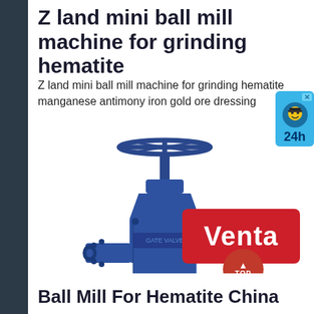Z land mini ball mill machine for grinding hematite
Z land mini ball mill machine for grinding hematite manganese antimony iron gold ore dressing
[Figure (photo): Blue cast iron gate valve with handwheel on top and flanged ends]
[Figure (other): Customer service chat widget showing a cartoon avatar and '24h' text on blue background]
[Figure (other): Red 'Venta' promotional banner/badge]
[Figure (other): Dark red circular TOP button with upward arrow]
Ball Mill For Hematite China